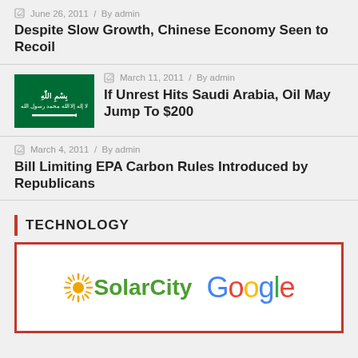June 26, 2011 / By admin
Despite Slow Growth, Chinese Economy Seen to Recoil
March 11, 2011 / By admin
If Unrest Hits Saudi Arabia, Oil May Jump To $200
March 4, 2011 / By admin
Bill Limiting EPA Carbon Rules Introduced by Republicans
TECHNOLOGY
[Figure (logo): SolarCity and Google logos side by side inside a red-bordered box]